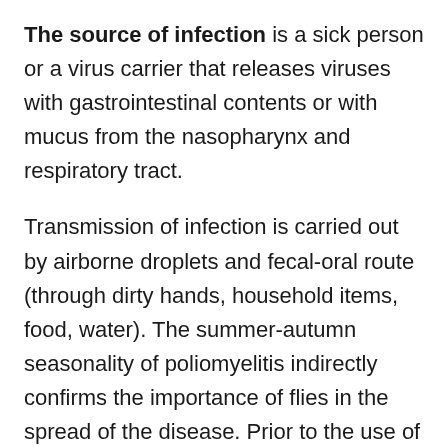The source of infection is a sick person or a virus carrier that releases viruses with gastrointestinal contents or with mucus from the nasopharynx and respiratory tract.
Transmission of infection is carried out by airborne droplets and fecal-oral route (through dirty hands, household items, food, water). The summer-autumn seasonality of poliomyelitis indirectly confirms the importance of flies in the spread of the disease. Prior to the use of mass vaccination, polio was a widespread disease and was observed in all countries of the world, especially in the USA, where special attention was paid to the study of this disease.
Major poliomyelitis epidemics were observed from 1949 to 1956. Due to active immunization in 1960-1962. there was such a sharp decrease in the incidence of